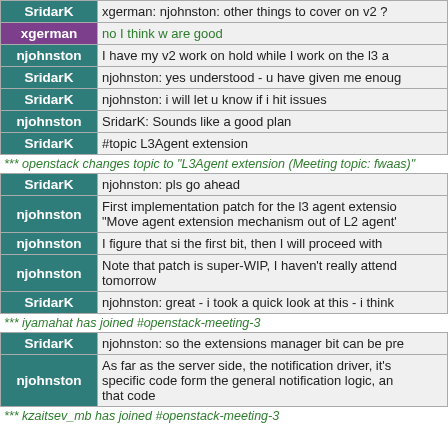| User | Message |
| --- | --- |
| SridarK | xgerman: njohnston: other things to cover on v2 ? |
| xgerman | no I think w are good |
| njohnston | I have my v2 work on hold while I work on the l3 a |
| SridarK | njohnston: yes understood - u have given me enoug |
| SridarK | njohnston: i will let u know if i hit issues |
| njohnston | SridarK: Sounds like a good plan |
| SridarK | #topic L3Agent extension |
*** openstack changes topic to "L3Agent extension (Meeting topic: fwaas)"
| User | Message |
| --- | --- |
| SridarK | njohnston: pls go ahead |
| njohnston | First implementation patch for the l3 agent extensio "Move agent extension mechanism out of L2 agent' |
| njohnston | I figure that si the first bit, then I will proceed with |
| njohnston | Note that patch is super-WIP, I haven't really attend tomorrow |
| SridarK | njohnston: great - i took a quick look at this - i think |
*** iyamahat has joined #openstack-meeting-3
| User | Message |
| --- | --- |
| SridarK | njohnston: so the extensions manager bit can be pre |
| njohnston | As far as the server side, the notification driver, it's specific code form the general notification logic, an that code |
*** kzaitsev_mb has joined #openstack-meeting-3